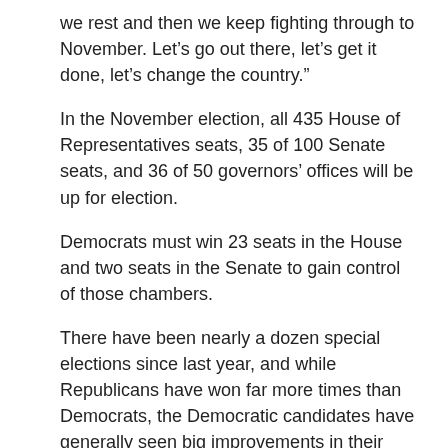we rest and then we keep fighting through to November. Let’s go out there, let’s get it done, let’s change the country.”
In the November election, all 435 House of Representatives seats, 35 of 100 Senate seats, and 36 of 50 governors’ offices will be up for election.
Democrats must win 23 seats in the House and two seats in the Senate to gain control of those chambers.
There have been nearly a dozen special elections since last year, and while Republicans have won far more times than Democrats, the Democratic candidates have generally seen big improvements in their support compared to how the party did in the same areas in the 2016 election.
In the Midwest state of Kansas, the Republican primary for the party’s candidate for governor in November featured a tight race between Secretary of State Kris Kobach and the incumbent Governor Jeff Colyer. Each candidate had about